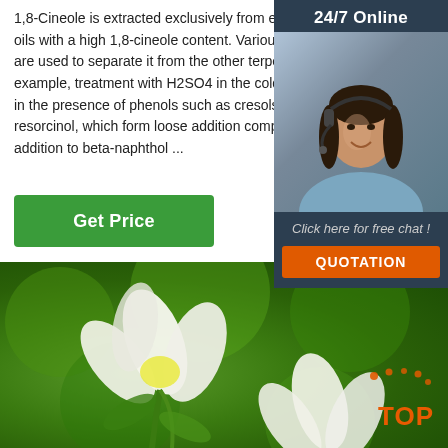1,8-Cineole is extracted exclusively from eucalyptus oils with a high 1,8-cineole content. Various processes are used to separate it from the other terpenes, for example, treatment with H2SO4 in the cold, distillation in the presence of phenols such as cresols or resorcinol, which form loose addition compounds, or by addition to beta-naphthol ...
Get Price
[Figure (infographic): 24/7 Online customer support sidebar with a photo of a woman wearing a headset, text 'Click here for free chat!' and an orange QUOTATION button]
[Figure (photo): White lotus or magnolia flowers against a blurred green bokeh background, with a TOP logo in the bottom right corner]